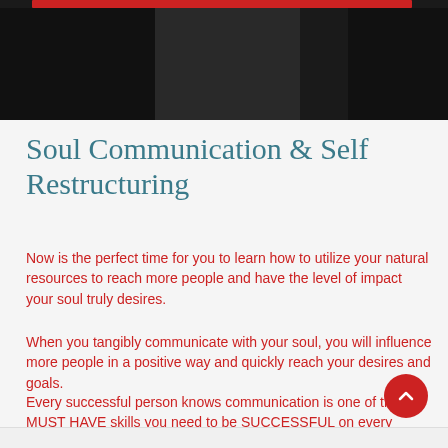[Figure (photo): Dark hero banner image with a red bar at top and a partial figure silhouette in the center]
Soul Communication & Self Restructuring
Now is the perfect time for you to learn how to utilize your natural resources to reach more people and have the level of impact your soul truly desires.
When you tangibly communicate with your soul, you will influence more people in a positive way and quickly reach your desires and goals.
Every successful person knows communication is one of the MUST HAVE skills you need to be SUCCESSFUL on every level from impact to income.